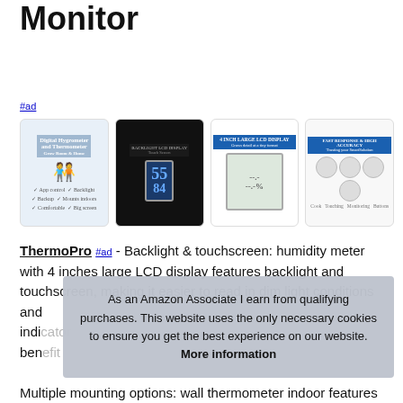Monitor
#ad
[Figure (photo): Four product images of indoor humidity and temperature monitors/hygrometers shown in a row]
ThermoPro #ad - Backlight & touchscreen: humidity meter with 4 inches large LCD display features backlight and touchscreen, making it easier to read in dim light conditions and indicator benefit
As an Amazon Associate I earn from qualifying purchases. This website uses the only necessary cookies to ensure you get the best experience on our website. More information
Multiple mounting options: wall thermometer indoor features